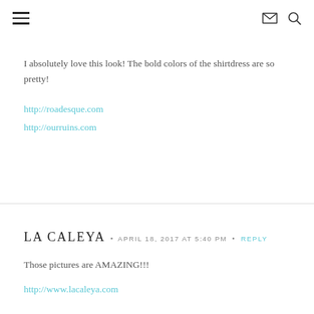Navigation header with menu, email, and search icons
I absolutely love this look! The bold colors of the shirtdress are so pretty!
http://roadesque.com
http://ourruins.com
LA CALEYA · APRIL 18, 2017 AT 5:40 PM · REPLY
Those pictures are AMAZING!!!
http://www.lacaleya.com